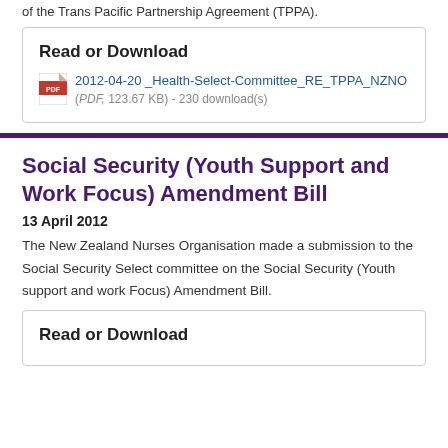of the Trans Pacific Partnership Agreement (TPPA).
Read or Download
2012-04-20 _Health-Select-Committee_RE_TPPA_NZNO (PDF, 123.67 KB) - 230 download(s)
Social Security (Youth Support and Work Focus) Amendment Bill
13 April 2012
The New Zealand Nurses Organisation made a submission to the Social Security Select committee on the Social Security (Youth support and work Focus) Amendment Bill.
Read or Download